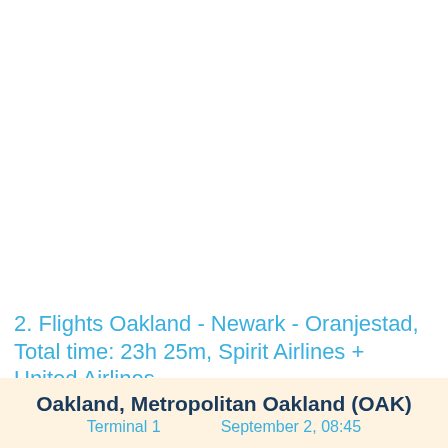2. Flights Oakland - Newark - Oranjestad, Total time: 23h 25m, Spirit Airlines + United Airlines
Rating: 3.3/5
Journey description
Oakland, Metropolitan Oakland (OAK)
Terminal 1    September 2, 08:45